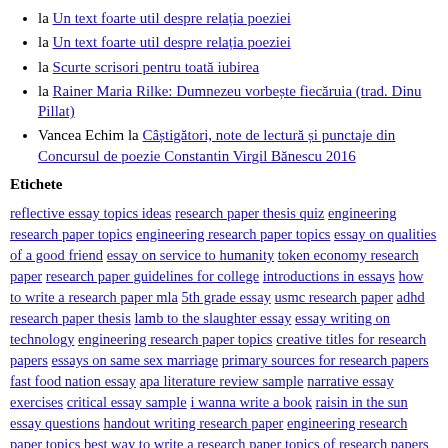la Un text foarte util despre relația poeziei
la Un text foarte util despre relația poeziei
la Scurte scrisori pentru toată iubirea
la Rainer Maria Rilke: Dumnezeu vorbește fiecăruia (trad. Dinu Pillat)
Vancea Echim la Câștigători, note de lectură și punctaje din Concursul de poezie Constantin Virgil Bănescu 2016
Etichete
reflective essay topics ideas research paper thesis quiz engineering research paper topics engineering research paper topics essay on qualities of a good friend essay on service to humanity token economy research paper research paper guidelines for college introductions in essays how to write a research paper mla 5th grade essay usmc research paper adhd research paper thesis lamb to the slaughter essay essay writing on technology engineering research paper topics creative titles for research papers essays on same sex marriage primary sources for research papers fast food nation essay apa literature review sample narrative essay exercises critical essay sample i wanna write a book raisin in the sun essay questions handout writing research paper engineering research paper topics best way to write a research paper topics of research papers essay on the cold war engineering research paper topics sickle cell